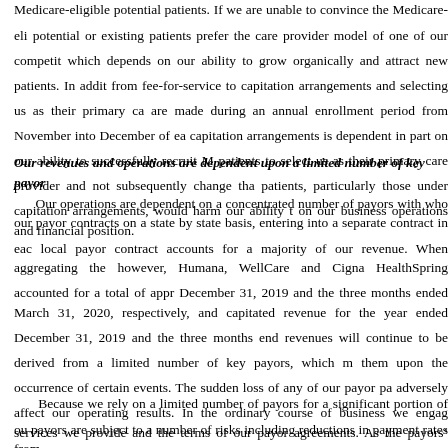Medicare-eligible potential patients. If we are unable to convince the Medicare-eligible potential or existing patients prefer the care provider model of one of our competitors, which depends on our ability to grow organically and attract new patients. In addition, from fee-for-service to capitation arrangements and selecting us as their primary care are made during an annual enrollment period from November into December of each year, capitation arrangements is dependent in part on our ability to successfully recruit Medicare patients to select us as their primary care provider and not subsequently change that selection. The loss of patients, particularly those under capitation arrangements, would harm our ability to generate revenues and on our business operations and financial position.
Our revenues and operations are dependent upon a limited number of key payors.
Our operations are dependent on a concentrated number of payors with whom we negotiate our payor contracts on a state by state basis, entering into a separate contract in each state. No single local payor contract accounts for a majority of our revenue. When aggregating the payor contracts, however, Humana, WellCare and Cigna HealthSpring accounted for a total of approximately 70% for December 31, 2019 and the three months ended March 31, 2020, respectively, and approximately 72% of capitated revenue for the year ended December 31, 2019 and the three months ended March 31, 2020. Our revenues will continue to be derived from a limited number of key payors, which may seek to terminate them upon the occurrence of certain events. The sudden loss of any of our payor partners could adversely affect our operating results. In the ordinary course of business we engage in discussions services we provide and the terms of our payor agreements. As the payors' businesses evolve, they may make strategic business decisions in respect of the lines of business they pursue and may seek or attempt to renegotiate or terminate their agreements with us. These discussions could result in modifications not contemplated by our original payor contracts and consequently could negatively impact our revenues.
Because we rely on a limited number of payors for a significant portion of our revenues, our payors are subject to a number of risks including reductions in payment rates from